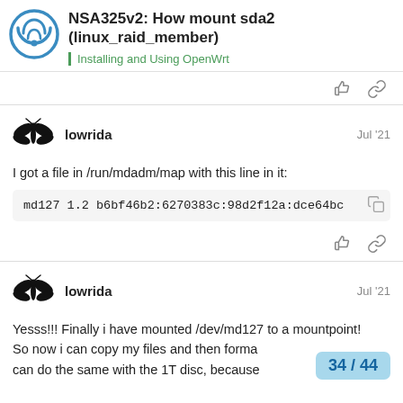NSA325v2: How mount sda2 (linux_raid_member) — Installing and Using OpenWrt
I got a file in /run/mdadm/map with this line in it:
md127  1.2  b6bf46b2:6270383c:98d2f12a:dce64bc...
Yesss!!! Finally i have mounted /dev/md127 to a mountpoint!
So now i can copy my files and then forma
can do the same with the 1T disc, because